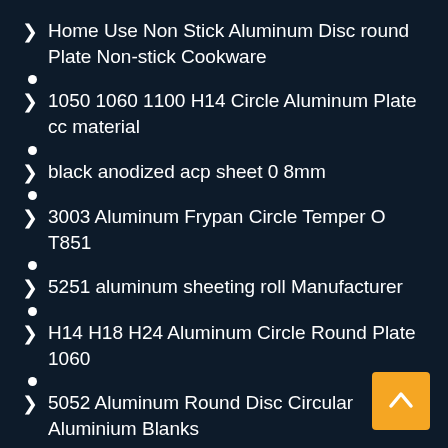Home Use Non Stick Aluminum Disc round Plate Non-stick Cookware
1050 1060 1100 H14 Circle Aluminum Plate cc material
black anodized acp sheet 0 8mm
3003 Aluminum Frypan Circle Temper O T851
5251 aluminum sheeting roll Manufacturer
H14 H18 H24 Aluminum Circle Round Plate 1060
5052 Aluminum Round Disc Circular Aluminium Blanks